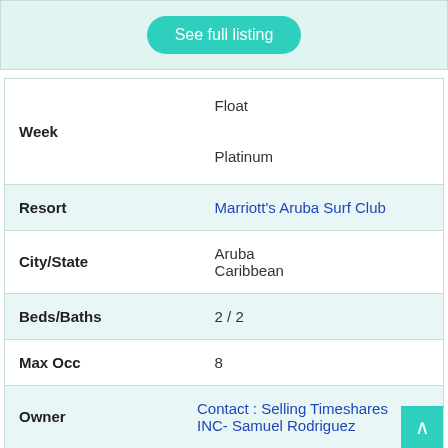See full listing
| Field | Value |
| --- | --- |
| Week | Float
Platinum |
| Resort | Marriott's Aruba Surf Club |
| City/State | Aruba
Caribbean |
| Beds/Baths | 2 / 2 |
| Max Occ | 8 |
| Owner | Contact : Selling Timeshares INC- Samuel Rodriguez |